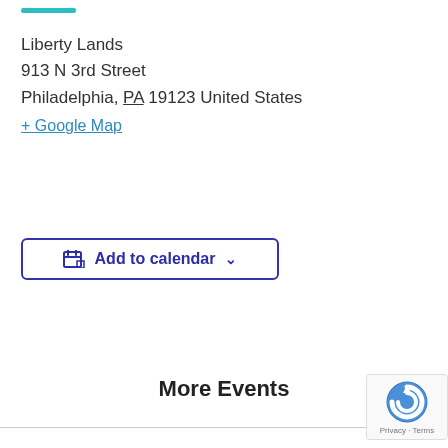Liberty Lands
913 N 3rd Street
Philadelphia, PA 19123 United States
+ Google Map
Add to calendar
More Events